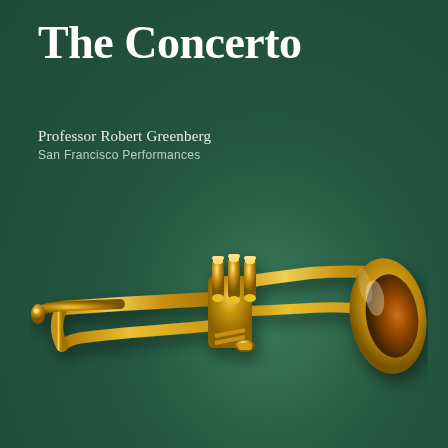The Concerto
Professor Robert Greenberg
San Francisco Performances
[Figure (illustration): A gold/brass trumpet instrument rendered in 3D, positioned diagonally with the bell facing right and the mouthpiece extending to the left, on a dark green background.]